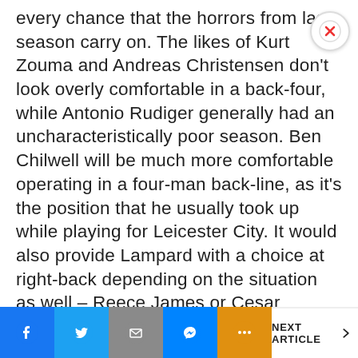every chance that the horrors from last season carry on. The likes of Kurt Zouma and Andreas Christensen don't look overly comfortable in a back-four, while Antonio Rudiger generally had an uncharacteristically poor season. Ben Chilwell will be much more comfortable operating in a four-man back-line, as it's the position that he usually took up while playing for Leicester City. It would also provide Lampard with a choice at right-back depending on the situation as well – Reece James or Cesar Azpilicueta.
ADVERTISEMENT
[Figure (other): Advertisement placeholder area]
NEXT ARTICLE >